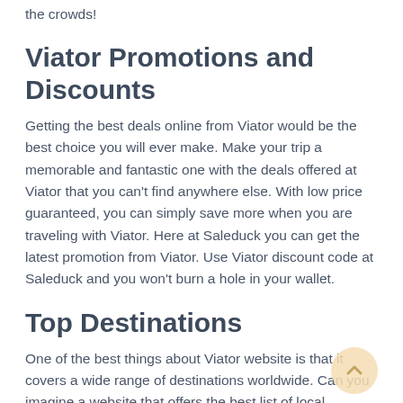the crowds!
Viator Promotions and Discounts
Getting the best deals online from Viator would be the best choice you will ever make. Make your trip a memorable and fantastic one with the deals offered at Viator that you can't find anywhere else. With low price guaranteed, you can simply save more when you are traveling with Viator. Here at Saleduck you can get the latest promotion from Viator. Use Viator discount code at Saleduck and you won't burn a hole in your wallet.
Top Destinations
One of the best things about Viator website is that it covers a wide range of destinations worldwide. Can you imagine a website that offers the best list of local attractions and activities? Viator has it all. From Perth to Phuket and other top international destinations such as Tokyo, Sydney, New York and Dubai, you can travel to